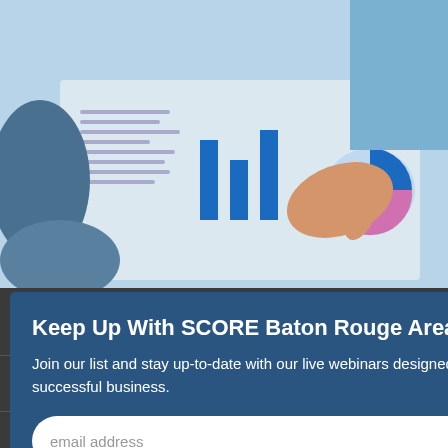[Figure (photo): Hands pointing at charts and graphs on a document on a table, business meeting setting]
Keep Up With SCORE Baton Rouge Area
Join our list and stay up-to-date with our live webinars designed to help you start and grow a successful business.
email address  SUBMIT
View more sponsors
CONTACT US